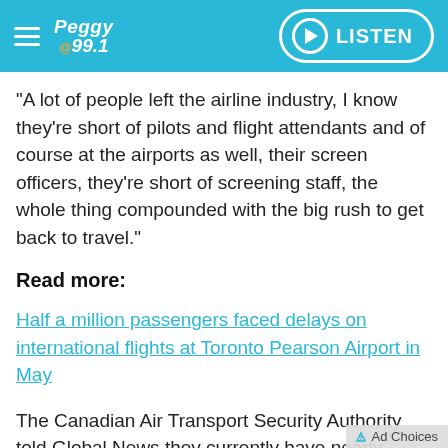Peggy @99.1 — LISTEN
“A lot of people left the airline industry, I know they’re short of pilots and flight attendants and of course at the airports as well, their screen officers, they’re short of screening staff, the whole thing compounded with the big rush to get back to travel.”
Read more:
Half a million passengers faced delays on international flights at Toronto Pearson Airport in May
The Canadian Air Transport Security Authority told Global News they currently have nearly 1,000 fewer security screening officers than they did at the beginning of the pandemic. They say they’re working to increase that number by next